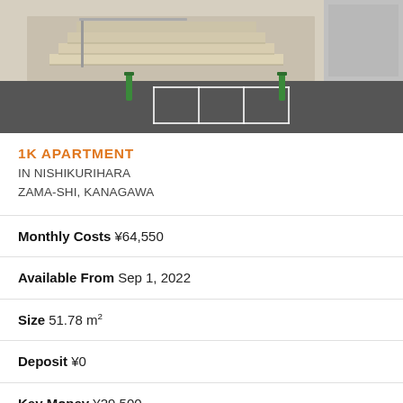[Figure (photo): Exterior photo of apartment building showing concrete steps, staircase with railing, and parking area with green bollards and white line markings on dark pavement]
1K APARTMENT
IN NISHIKURIHARA
ZAMA-SHI, KANAGAWA
Monthly Costs ¥64,550
Available From Sep 1, 2022
Size 51.78 m²
Deposit ¥0
Key Money ¥29,500
Floor 1 / 2F